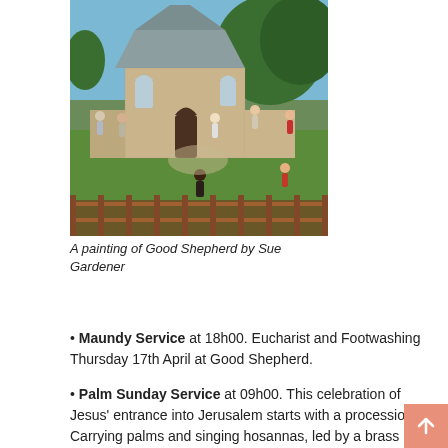[Figure (illustration): A painting of a stone church (Good Shepherd) with people gathered on the grounds, trees in background, green lawn, wooden fence in foreground. Painted by Sue Gardener.]
A painting of Good Shepherd by Sue Gardener
Maundy Service at 18h00. Eucharist and Footwashing Thursday 17th April at Good Shepherd.
Palm Sunday Service at 09h00. This celebration of Jesus' entrance into Jerusalem starts with a procession. Carrying palms and singing hosannas, led by a brass band 'The Newlands Independent Christmas Band', the